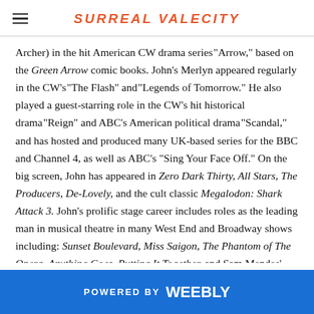SURREAL VALECITY
Archer) in the hit American CW drama series "Arrow," based on the Green Arrow comic books. John's Merlyn appeared regularly in the CW's "The Flash" and "Legends of Tomorrow." He also played a guest-starring role in the CW's hit historical drama "Reign" and ABC's American political drama "Scandal," and has hosted and produced many UK-based series for the BBC and Channel 4, as well as ABC's "Sing Your Face Off." On the big screen, John has appeared in Zero Dark Thirty, All Stars, The Producers, De-Lovely, and the cult classic Megalodon: Shark Attack 3. John's prolific stage career includes roles as the leading man in musical theatre in many West End and Broadway shows including: Sunset Boulevard, Miss Saigon, The Phantom of The Opera, Anything Goes, Putting It Together, and Sam Mendes' premiere production of The Fix, which garnered John an Olivier Award nomination as "Best Actor in a Musical."  In his thirty-year career, one of John's proudest career accomplishments was being awarded the MBE for his services to entertainment and charity by Her Majesty the
POWERED BY weebly